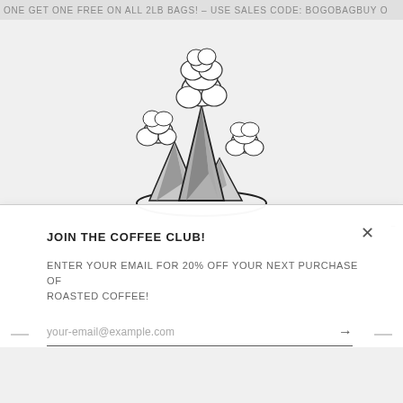ONE GET ONE FREE ON ALL 2LB BAGS! – USE SALES CODE: BOGOBAGBUY O
[Figure (illustration): Black and white ink illustration of two volcanic mountains erupting smoke/clouds, set on a circular base, used as a coffee brand logo.]
JOIN THE COFFEE CLUB!
ENTER YOUR EMAIL FOR 20% OFF YOUR NEXT PURCHASE OF ROASTED COFFEE!
your-email@example.com